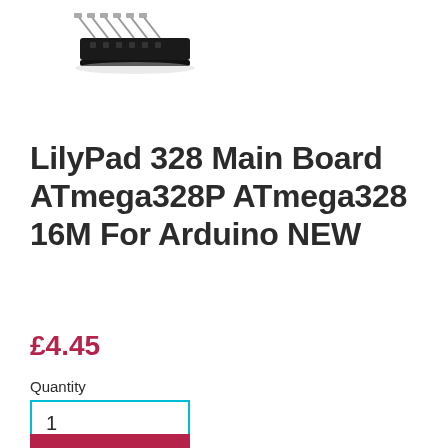[Figure (photo): Black female pin header connector component shown at an angle on white background]
LilyPad 328 Main Board ATmega328P ATmega328 16M For Arduino NEW
£4.45
Quantity
1